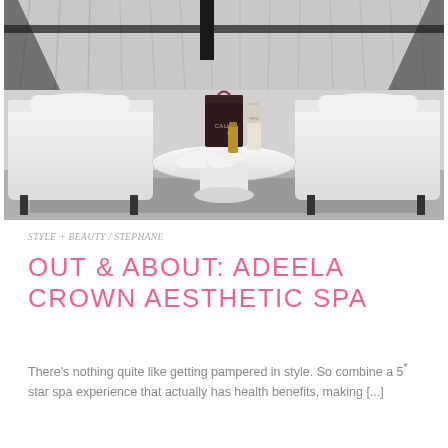[Figure (photo): Spa relaxation area showing two white cushioned lounge chairs with cylindrical bolster pillows, a round white pedestal table in the center with a Caudalie branded dark gift bag, a small serum/oil bottle, and a white sleep mask, set under a tent-like white draped ceiling with dark structural beams]
STYLE + BEAUTY / STEPHANE
OUT & ABOUT: ADEELA CROWN AESTHETIC SPA
There's nothing quite like getting pampered in style. So combine a 5* star spa experience that actually has health benefits, making [...]